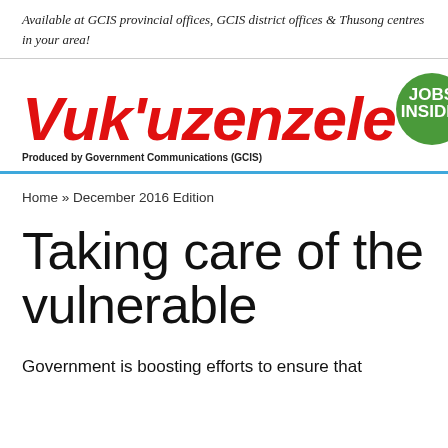Available at GCIS provincial offices, GCIS district offices & Thusong centres in your area!
Vuk'uzenzele
[Figure (logo): Green circular badge with white bold text reading JOBS INSIDE:]
Produced by Government Communications (GCIS)
Home » December 2016 Edition
Taking care of the vulnerable
Government is boosting efforts to ensure that